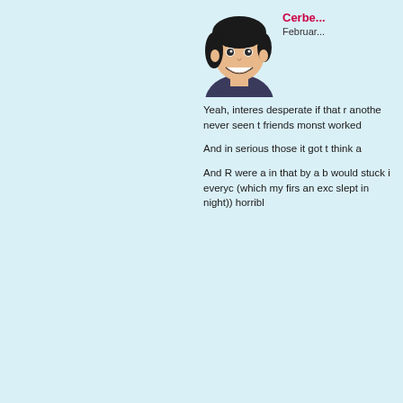[Figure (illustration): Anime/manga style illustration of a smiling young man with dark hair, wearing a dark jacket, depicted from shoulders up]
Cerbe... February ...

Yeah, interes desperate if that r another never seen t friends monst worked

And in serious those it got t think a

And R were a in that by a b would stuck i everyc (which my firs an exc slept in night)) horribl